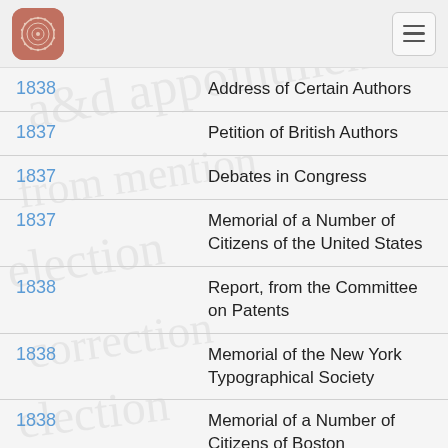| Year | Title |
| --- | --- |
| 1838 | Address of Certain Authors |
| 1837 | Petition of British Authors |
| 1837 | Debates in Congress |
| 1837 | Memorial of a Number of Citizens of the United States |
| 1838 | Report, from the Committee on Patents |
| 1838 | Memorial of the New York Typographical Society |
| 1838 | Memorial of a Number of Citizens of Boston |
| 1841* | Folsom v. Marsh Commentary: [1] |